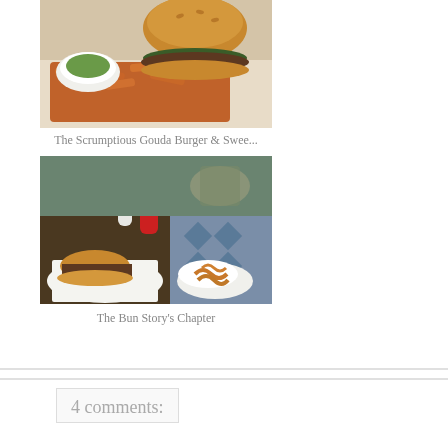[Figure (photo): Photo of a burger with sweet potato fries and a bowl of green dipping sauce on a white plate]
The Scrumptious Gouda Burger & Swee...
[Figure (photo): Photo of a diner table with sandwiches and curly fries on plates, ketchup bottle and salt shaker visible]
The Bun Story's Chapter
4 comments: